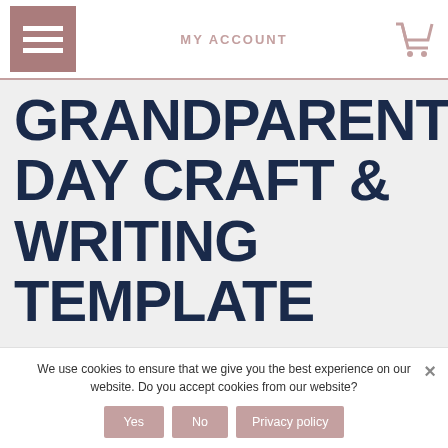MY ACCOUNT
GRANDPARENTS DAY CRAFT & WRITING TEMPLATE
ADD TO WISHLIST
FILE TYPE:PDF
34 PAGES
We use cookies to ensure that we give you the best experience on our website. Do you accept cookies from our website?